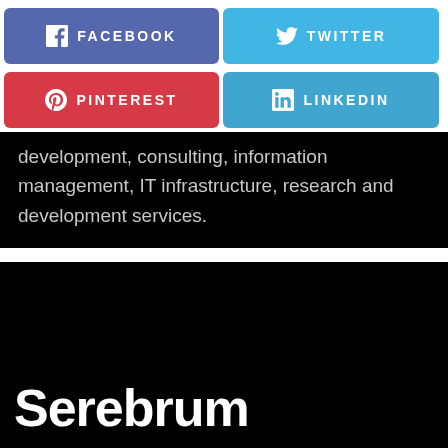[Figure (infographic): Social media share buttons: Facebook (purple-blue), Twitter (light blue), Pinterest (red), LinkedIn (blue)]
development, consulting, information management, IT infrastructure, research and development services.
Serebrum